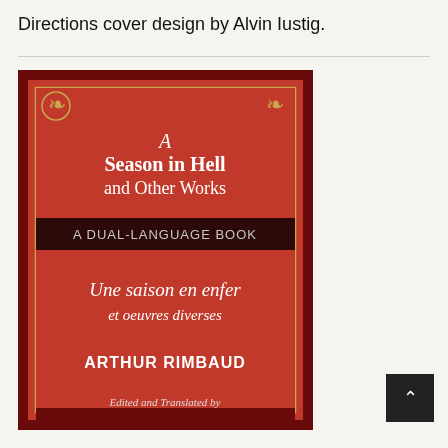Directions cover design by Alvin Iustig.
[Figure (photo): Book cover of 'A Season in Hell and Other Works / Une saison en enfer et oeuvres diverses' by Arthur Rimbaud, a dual-language book. The cover is red with a dark maroon border, gold decorative corners and frame. The English title 'A Season in Hell and Other Works' is in white serif font at the top, followed by 'A DUAL-LANGUAGE BOOK' on a dark banner, then the French title 'Une saison en enfer et oeuvres diverses', then 'ARTHUR RIMBAUD' in bold capitals, and at the bottom 'Edited and Translated by' partially visible.]